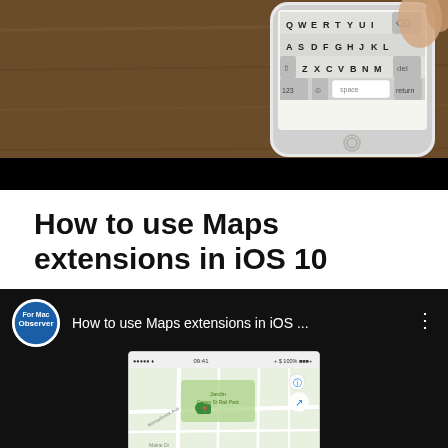[Figure (screenshot): Screenshot of a white iPhone on a wooden table showing the on-screen keyboard with QWERTY layout. A hand is visible at the top right.]
How to use Maps extensions in iOS 10
[Figure (screenshot): YouTube video thumbnail showing 'How to use Maps extensions in iOS ...' with the Mac Observer logo/avatar on the left, three-dot menu on right, and a phone screen showing Apple Maps below.]